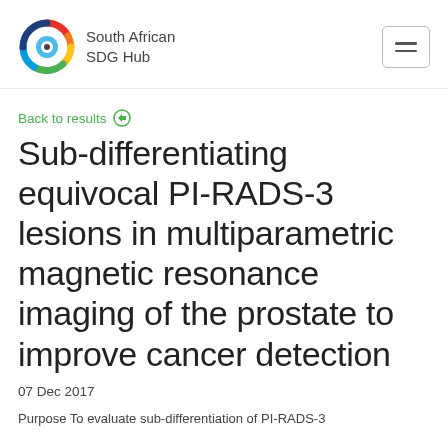South African SDG Hub
Back to results
Sub-differentiating equivocal PI-RADS-3 lesions in multiparametric magnetic resonance imaging of the prostate to improve cancer detection
07 Dec 2017
Purpose To evaluate sub-differentiation of PI-RADS-3